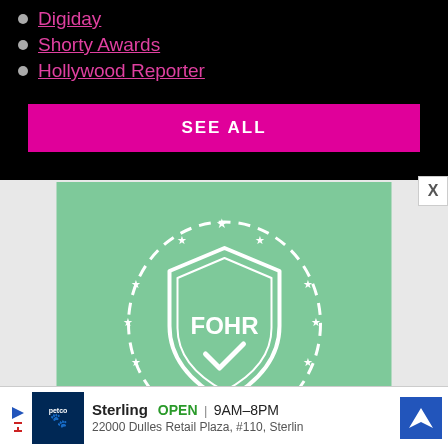Digiday
Shorty Awards
Hollywood Reporter
SEE ALL
[Figure (logo): Fohr Card Verified 2017 badge — shield shape with FOHR text and checkmark, surrounded by stars and dashed circle outline, on mint green background]
Fohr Card Verified 2017
Sterling  OPEN  9AM–8PM  22000 Dulles Retail Plaza, #110, Sterling